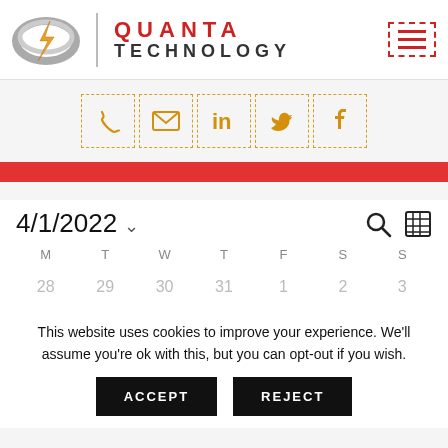[Figure (logo): Quanta Technology logo with lightning bolt and coil graphic, company name in red and dark grey with hamburger menu icon]
[Figure (infographic): Row of five social media icon boxes (phone, email, LinkedIn, Twitter, Facebook) with dashed orange borders]
4/1/2022
[Figure (infographic): Calendar view showing days M T W T F S S with dates 28 29 30 31 1 2 3]
This website uses cookies to improve your experience. We'll assume you're ok with this, but you can opt-out if you wish.
ACCEPT
REJECT